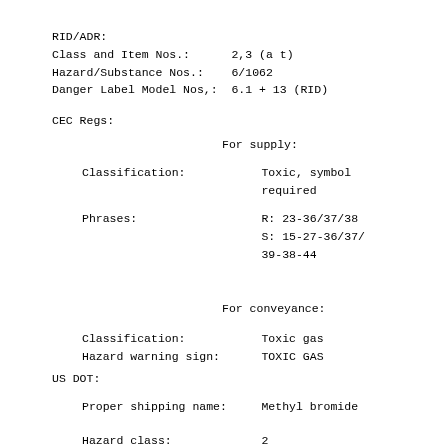RID/ADR:
Class and Item Nos.:      2,3 (a t)
Hazard/Substance Nos.:    6/1062
Danger Label Model Nos,:  6.1 + 13 (RID)
CEC Regs:
For supply:
Classification:           Toxic, symbol
                          required
Phrases:                  R: 23-36/37/38
                          S: 15-27-36/37/
                          39-38-44
For conveyance:
Classification:           Toxic gas
Hazard warning sign:      TOXIC GAS
US DOT:
Proper shipping name:     Methyl bromide
Hazard class:             2